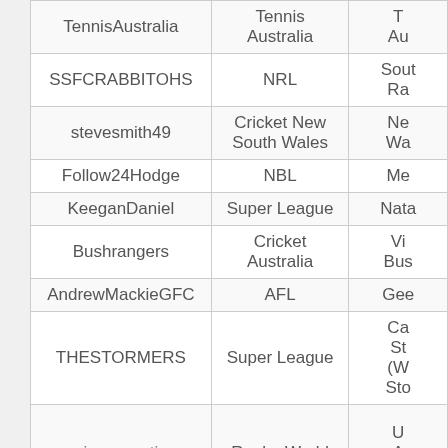| Username | League/Org | Club/Team |
| --- | --- | --- |
| TennisAustralia | Tennis Australia | Tennis Au… |
| SSFCRABBITOHS | NRL | Sout… Ra… |
| stevesmith49 | Cricket New South Wales | Ne… Wal… |
| Follow24Hodge | NBL | Me… |
| KeeganDaniel | Super League | Nata… |
| Bushrangers | Cricket Australia | Vi… Bus… |
| AndrewMackieGFC | AFL | Gee… |
| THESTORMERS | Super League | Ca… St… (W… Sto… |
| unionargentina | Rugby World | U… A… |